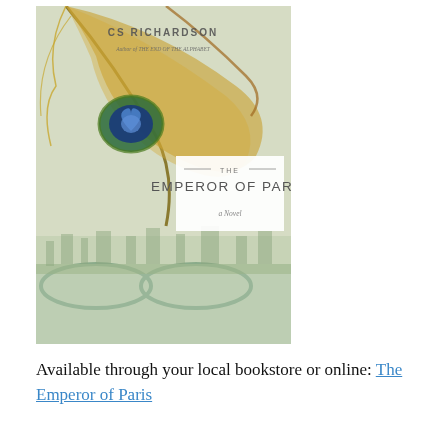[Figure (illustration): Book cover of 'The Emperor of Paris' by CS Richardson. Features a peacock feather with an eye pattern in blue/green/gold tones on a light green background, with a white label showing the title 'THE EMPEROR OF PARIS — a Novel', and a muted watercolor cityscape of Paris bridges at the bottom.]
Available through your local bookstore or online: The Emperor of Paris